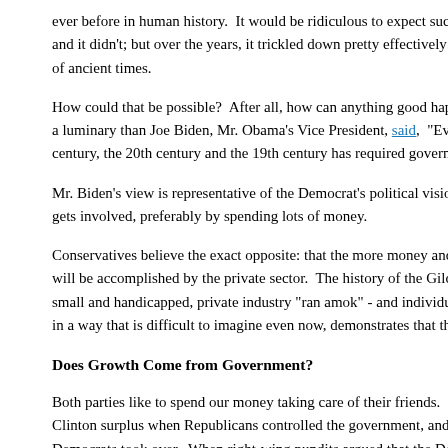ever before in human history.  It would be ridiculous to expect such massive new and it didn't; but over the years, it trickled down pretty effectively: our poor people of ancient times.
How could that be possible?  After all, how can anything good happen without the a luminary than Joe Biden, Mr. Obama's Vice President, said,  "Every single great century, the 20th century and the 19th century has required government vision and
Mr. Biden's view is representative of the Democrat's political vision - nothing goo gets involved, preferably by spending lots of money.
Conservatives believe the exact opposite: that the more money and power is left in will be accomplished by the private sector.  The history of the Gilded Age, a time small and handicapped, private industry "ran amok" - and individual and personal in a way that is difficult to imagine even now, demonstrates that the conservative
Does Growth Come from Government?
Both parties like to spend our money taking care of their friends.  Spending skyro Clinton surplus when Republicans controlled the government, and spending dwar Democrats took over.  When right-wing pundits argued that the Democrats were s